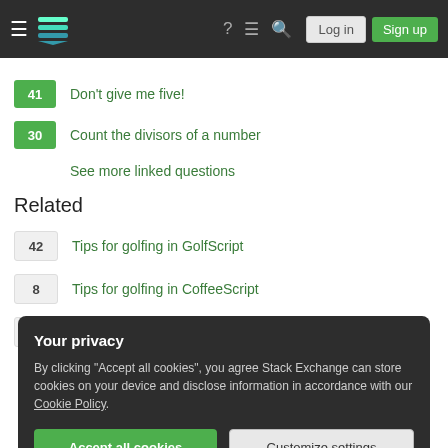Stack Exchange navigation bar with Log in and Sign up buttons
41 Don't give me five!
30 Count the divisors of a number
See more linked questions
Related
42 Tips for golfing in GolfScript
8 Tips for golfing in CoffeeScript
56 Tips for golfing in Jelly
Your privacy
By clicking "Accept all cookies", you agree Stack Exchange can store cookies on your device and disclose information in accordance with our Cookie Policy.
Accept all cookies  Customize settings